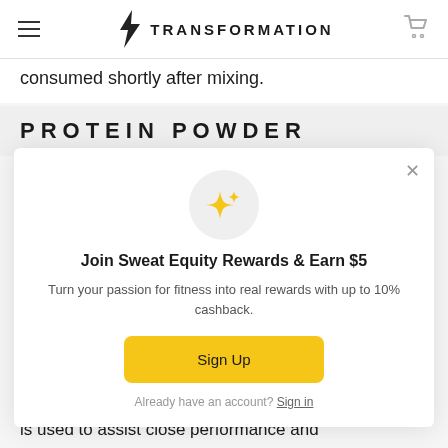TRANSFORMATION
consumed shortly after mixing.
PROTEIN POWDER
[Figure (illustration): Sparkle/stars icon in a light gray circle]
Join Sweat Equity Rewards & Earn $5
Turn your passion for fitness into real rewards with up to 10% cashback.
Sign Up
Already have an account? Sign in
is used to assist close performance and